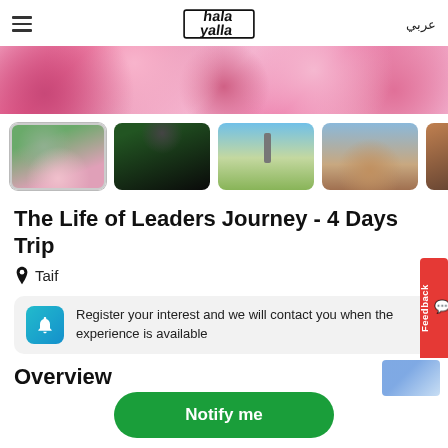hala yalla | عربي
[Figure (photo): Hero banner showing pink rose petals/flowers]
[Figure (photo): Thumbnail gallery: 1. Woman in garden among pink flowers (selected). 2. Dark archway/gate with garden. 3. Cityscape with tower. 4. Multi-story building. 5. Desert/rocky landscape (partial).]
The Life of Leaders Journey - 4 Days Trip
📍 Taif
Register your interest and we will contact you when the experience is available
Overview
Notify me